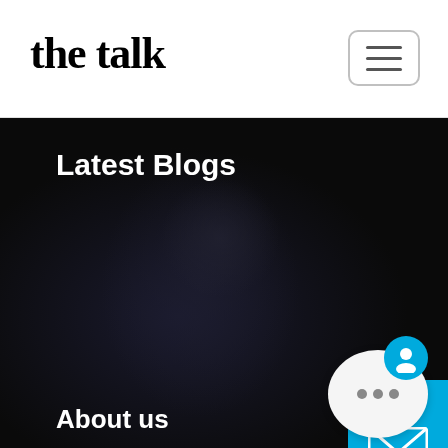the talk
Latest Blogs
[Figure (photo): Dark background photo of blurred crowd/people, used as hero section background]
[Figure (other): Cyan mail/envelope icon button on right side]
[Figure (other): Chat widget with circular avatar and three dots]
About us